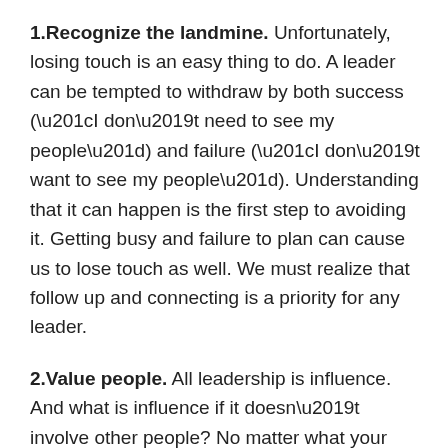1.Recognize the landmine. Unfortunately, losing touch is an easy thing to do. A leader can be tempted to withdraw by both success (“I don’t need to see my people”) and failure (“I don’t want to see my people”). Understanding that it can happen is the first step to avoiding it. Getting busy and failure to plan can cause us to lose touch as well. We must realize that follow up and connecting is a priority for any leader.
2.Value people. All leadership is influence. And what is influence if it doesn’t involve other people? No matter what your organization produces or does, it needs people to function. WE need people to lead. Leadership becomes effective when we acknowledge that people are our most appreciable asset, and treat them accordingly. A “thank you” goes a long way!